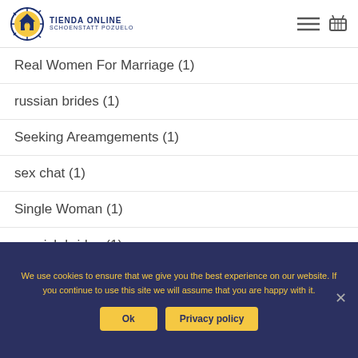TIENDA ONLINE SCHOENSTATT POZUELO
Real Women For Marriage (1)
russian brides (1)
Seeking Areamgements (1)
sex chat (1)
Single Woman (1)
spanish brides (1)
We use cookies to ensure that we give you the best experience on our website. If you continue to use this site we will assume that you are happy with it.